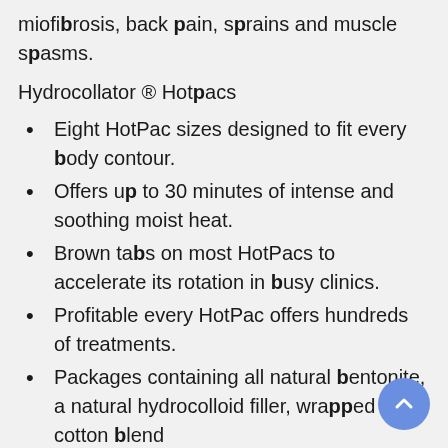miofibrosis, back pain, sprains and muscle spasms.
Hydrocollator ® Hotpacs
Eight HotPac sizes designed to fit every body contour.
Offers up to 30 minutes of intense and soothing moist heat.
Brown tabs on most HotPacs to accelerate its rotation in busy clinics.
Profitable every HotPac offers hundreds of treatments.
Packages containing all natural bentonite, a natural hydrocolloid filler, wrapped in a cotton blend